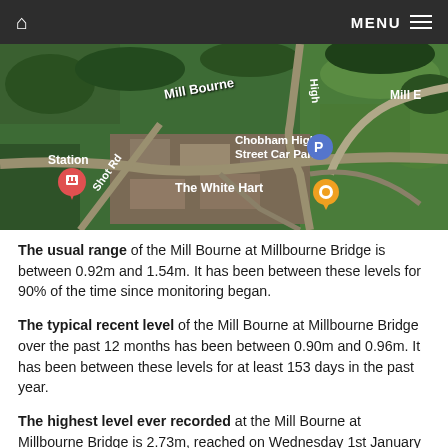Home | MENU
[Figure (map): Aerial satellite map showing Mill Bourne area near Chobham, with labels for Mill Bourne, High Street, Station, Chobham High Street Car Park (with parking marker P), The White Hart (with yellow pin marker), and Shot Rd. Shows roads, green fields and built-up areas from above.]
The usual range of the Mill Bourne at Millbourne Bridge is between 0.92m and 1.54m. It has been between these levels for 90% of the time since monitoring began.
The typical recent level of the Mill Bourne at Millbourne Bridge over the past 12 months has been between 0.90m and 0.96m. It has been between these levels for at least 153 days in the past year.
The highest level ever recorded at the Mill Bourne at Millbourne Bridge is 2.73m, reached on Wednesday 1st January